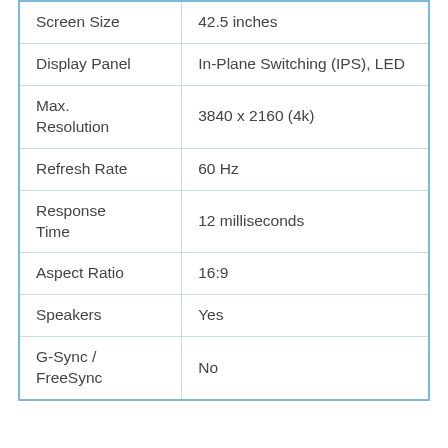|  |  |
| --- | --- |
| Screen Size | 42.5 inches |
| Display Panel | In-Plane Switching (IPS), LED |
| Max. Resolution | 3840 x 2160 (4k) |
| Refresh Rate | 60 Hz |
| Response Time | 12 milliseconds |
| Aspect Ratio | 16:9 |
| Speakers | Yes |
| G-Sync / FreeSync | No |